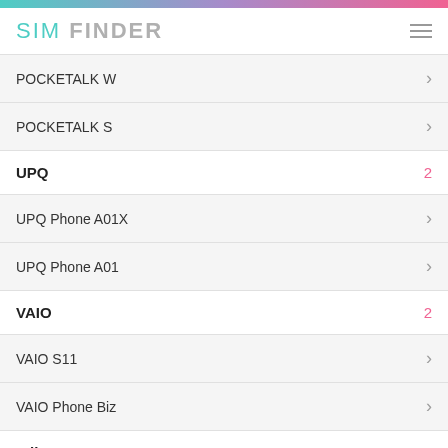SIM FINDER
POCKETALK W
POCKETALK S
UPQ  2
UPQ Phone A01X
UPQ Phone A01
VAIO  2
VAIO S11
VAIO Phone Biz
Wiko  4
Tommy